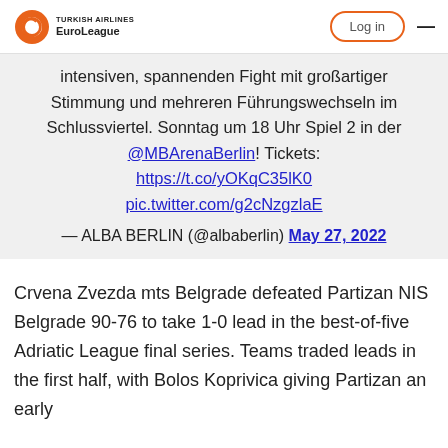TURKISH AIRLINES EuroLeague | Log in
intensiven, spannenden Fight mit großartiger Stimmung und mehreren Führungswechseln im Schlussviertel. Sonntag um 18 Uhr Spiel 2 in der @MBArenaBerlin! Tickets: https://t.co/yOKqC35lK0 pic.twitter.com/g2cNzgzlaE
— ALBA BERLIN (@albaberlin) May 27, 2022
Crvena Zvezda mts Belgrade defeated Partizan NIS Belgrade 90-76 to take 1-0 lead in the best-of-five Adriatic League final series. Teams traded leads in the first half, with Bolos Koprivica giving Partizan an early